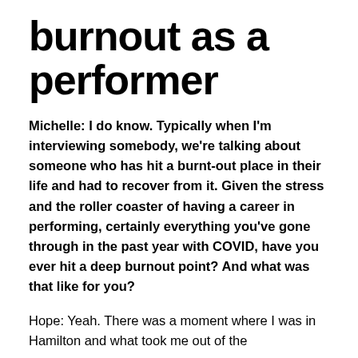burnout as a performer
Michelle: I do know. Typically when I'm interviewing somebody, we're talking about someone who has hit a burnt-out place in their life and had to recover from it. Given the stress and the roller coaster of having a career in performing, certainly everything you've gone through in the past year with COVID, have you ever hit a deep burnout point? And what was that like for you?
Hope: Yeah. There was a moment where I was in Hamilton and what took me out of the